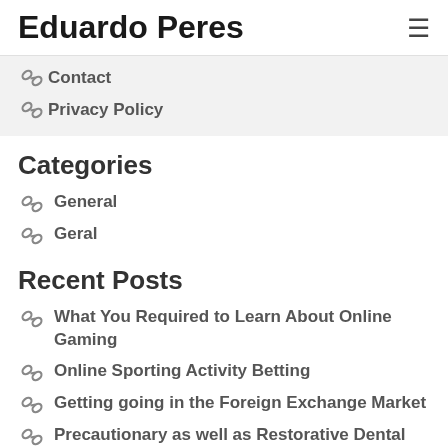Eduardo Peres
Contact
Privacy Policy
Categories
General
Geral
Recent Posts
What You Required to Learn About Online Gaming
Online Sporting Activity Betting
Getting going in the Foreign Exchange Market
Precautionary as well as Restorative Dental Treatment